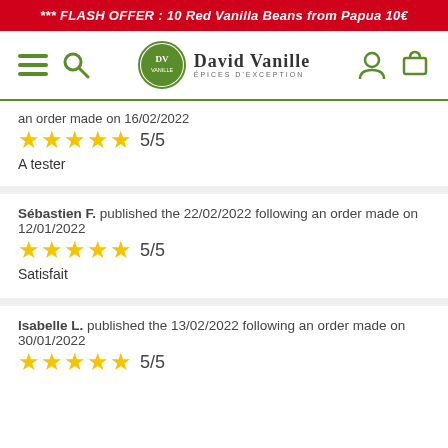*** FLASH OFFER : 10 Red Vanilla Beans from Papua 10€
[Figure (logo): David Vanille - Épices d'Exception logo with hamburger menu, search icon, user icon, and cart icon navigation bar]
an order made on 16/02/2022
★★★★★ 5/5
A tester
Sébastien F. published the 22/02/2022 following an order made on 12/01/2022
★★★★★ 5/5
Satisfait
Isabelle L. published the 13/02/2022 following an order made on 30/01/2022
★★★★★ 5/5